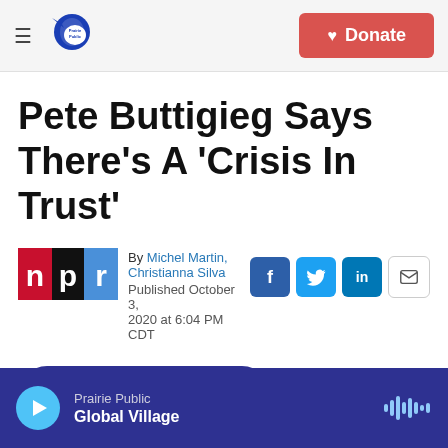Prairie Public — Donate
Pete Buttigieg Says There's A 'Crisis In Trust'
By Michel Martin, Christianna Silva
Published October 3, 2020 at 6:04 PM CDT
[Figure (logo): NPR logo with red, black, and blue blocks spelling n p r]
[Figure (infographic): Social share buttons: Facebook (f), Twitter, LinkedIn (in), Email]
LISTEN • 7:28
Prairie Public — Global Village